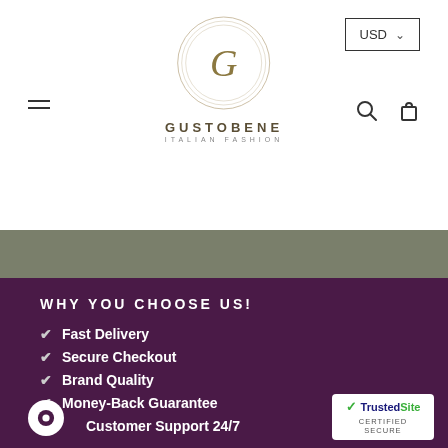[Figure (logo): Gustobene Italian Fashion logo: circular emblem with G in center, brand name GUSTOBENE below with ITALIAN FASHION subtitle]
USD ▾ [search icon] [cart icon] [menu icon]
WHY YOU CHOOSE US!
✔ Fast Delivery
✔ Secure Checkout
✔ Brand Quality
✔ Money-Back Guarantee
✔ Customer Support 24/7
[Figure (logo): TrustedSite Certified Secure badge]